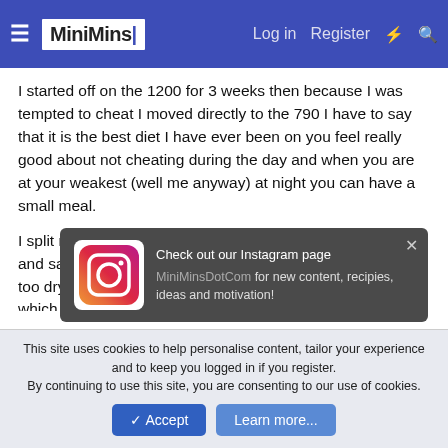MiniMins | Log in | Register
I started off on the 1200 for 3 weeks then because I was tempted to cheat I moved directly to the 790 I have to say that it is the best diet I have ever been on you feel really good about not cheating during the day and when you are at your weakest (well me anyway) at night you can have a small meal.
I split my protein up into chicken/turkey and cottage cheese and salad leaves most days, as I find the chicken on its own too dry, I did poach some cod in part of my milk allowance which was very nice.
I have a shake for brekkie, tetra for lunch (work) and another shake after my meal in the evening, or I make my last shake into
[Figure (screenshot): Instagram popup notification: Check out our Instagram page MiniMinsDotCom for new content, recipies, ideas and motivation!]
This site uses cookies to help personalise content, tailor your experience and to keep you logged in if you register.
By continuing to use this site, you are consenting to our use of cookies.